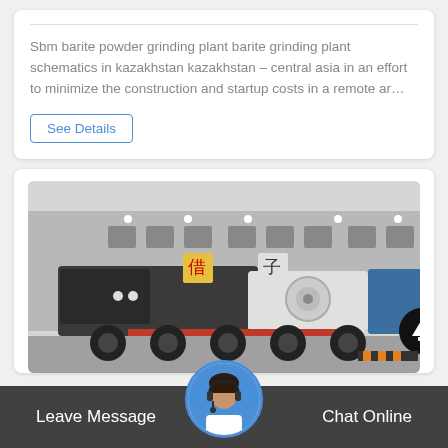Sbm barite powder grinding plant barite grinding plant schematics in kazakhstan kazakhstan – central asia in an effort to minimize the construction and startup costs in a remote ar…
See Details
[Figure (photo): Mobile crushing plant / machinery on a trailer with industrial building in background]
Leave Message
Chat Online